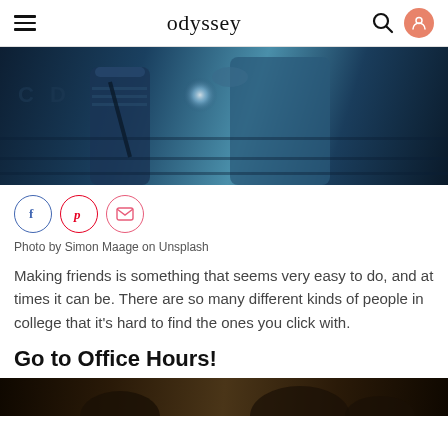odyssey
[Figure (photo): Two people seen from behind, one wearing a striped shirt with backpack straps, another in a blue top, with blurred bright light in background, dark blue tones]
[Figure (infographic): Social share buttons: Facebook (blue circle), Pinterest (red circle), Email/envelope (pink circle)]
Photo by Simon Maage on Unsplash
Making friends is something that seems very easy to do, and at times it can be. There are so many different kinds of people in college that it's hard to find the ones you click with.
Go to Office Hours!
[Figure (photo): Partial bottom image showing people in a dark indoor setting, cropped at bottom of page]